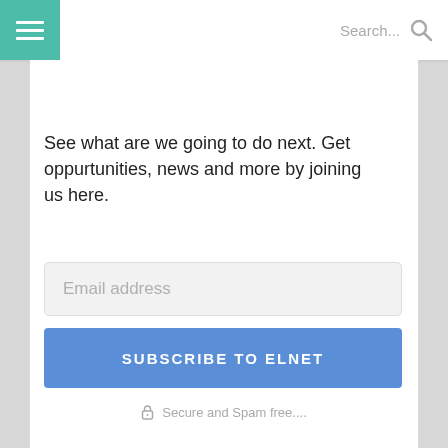≡  Search...
NEWSLETTER
See what are we going to do next. Get oppurtunities, news and more by joining us here.
[Figure (screenshot): Email address input field (placeholder text: Email address)]
[Figure (screenshot): Subscribe button labeled SUBSCRIBE TO ELNET in blue]
🔒 Secure and Spam free....